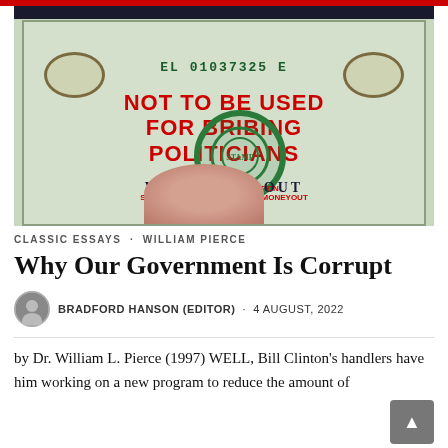[Figure (photo): Close-up photo of a US dollar bill stamped in red and green with text 'NOT TO BE USED FOR BRIBING POLITICIANS', 'AMEND THE CONSTITUTION', 'STAMP STAMPEDE.ORG #GetMoneyOut', and the serial number EL 01037325 E visible. A finger is partially visible at the bottom.]
CLASSIC ESSAYS · WILLIAM PIERCE
Why Our Government Is Corrupt
BRADFORD HANSON (EDITOR) · 4 AUGUST, 2022
by Dr. William L. Pierce (1997) WELL, Bill Clinton's handlers have him working on a new program to reduce the amount of